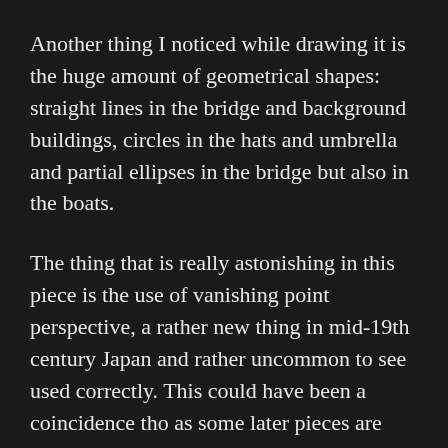Another thing I noticed while drawing it is the huge amount of geometrical shapes: straight lines in the bridge and background buildings, circles in the hats and umbrella and partial ellipses in the bridge but also in the boats.
The thing that is really astonishing in this piece is the use of vanishing point perspective, a rather new thing in mid-19th century Japan and rather uncommon to see used correctly. This could have been a coincidence tho as some later pieces are wonky in places, when it happens I will point it out but I will follow the artists' perspective instead of correcting it.